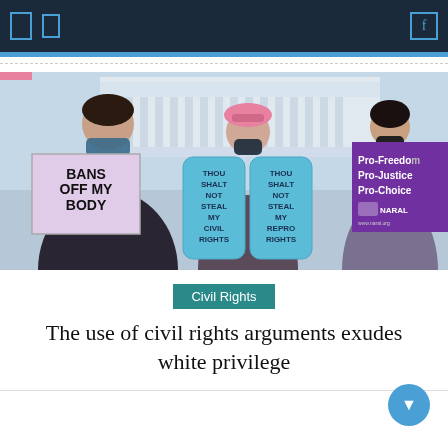Navigation bar with icons
[Figure (photo): Protesters outside the US Supreme Court building holding signs: 'BANS OFF MY BODY', two tablet-shaped signs reading 'THOU SHALT NOT STEAL MY CIVIL RIGHTS' and 'THOU SHALT NOT STEAL MY REPRO RIGHTS', and a purple NARAL sign reading 'Pro-Freedom Pro-Justice Pro-Choice'. Three people wearing masks are visible.]
Civil Rights
The use of civil rights arguments exudes white privilege